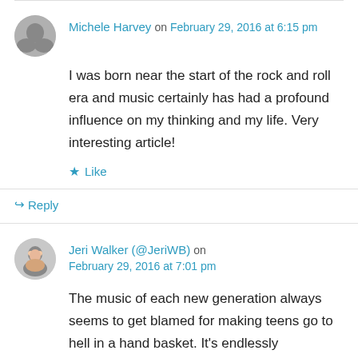Michele Harvey on February 29, 2016 at 6:15 pm
I was born near the start of the rock and roll era and music certainly has had a profound influence on my thinking and my life. Very interesting article!
Like
Reply
Jeri Walker (@JeriWB) on February 29, 2016 at 7:01 pm
The music of each new generation always seems to get blamed for making teens go to hell in a hand basket. It's endlessly fascinating.